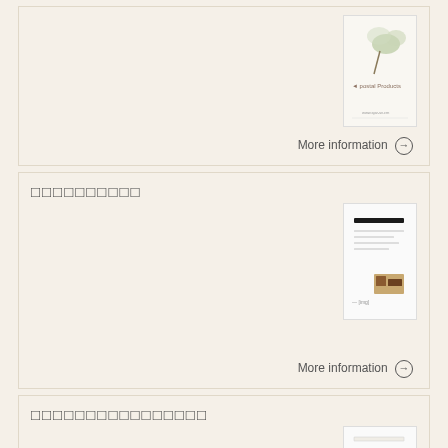[Figure (screenshot): Product thumbnail image with logo and URL at bottom]
More information →
□□□□□□□□□□
[Figure (screenshot): Document thumbnail with dark bar at top and small image at bottom]
More information →
□□□□□□□□□□□□□□□□
[Figure (screenshot): Document thumbnail with light bar at top and small image at bottom]